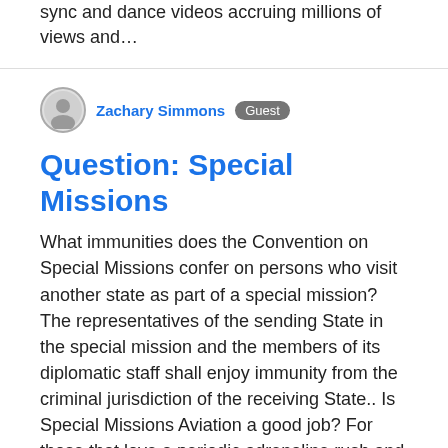sync and dance videos accruing millions of views and…
Zachary Simmons  Guest
Question: Special Missions
What immunities does the Convention on Special Missions confer on persons who visit another state as part of a special mission? The representatives of the sending State in the special mission and the members of its diplomatic staff shall enjoy immunity from the criminal jurisdiction of the receiving State.. Is Special Missions Aviation a good job? For those that love a periodic adrenaline rush and have a stronger intestinal fortitude than most, being an Air Force Special Missions Aviator can end up being a very rewarding Air Force career choice. What is the most secretive military